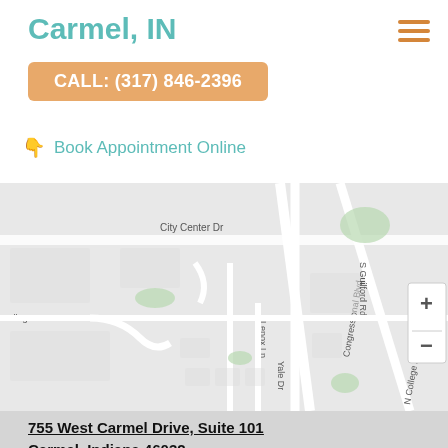Carmel, IN
CALL: (317) 846-2396
Book Appointment Online
[Figure (map): Street map showing area around 755 West Carmel Drive, Carmel IN. Streets visible include City Center Dr, Congressional Blvd, N College Ave, S Guilford Rd, Lenox Ln, Yale Dr, College Dr. Map has zoom in (+) and zoom out (-) controls on the right side.]
755 West Carmel Drive, Suite 101
Carmel, Indiana 46032
317-846-2396
Get directions